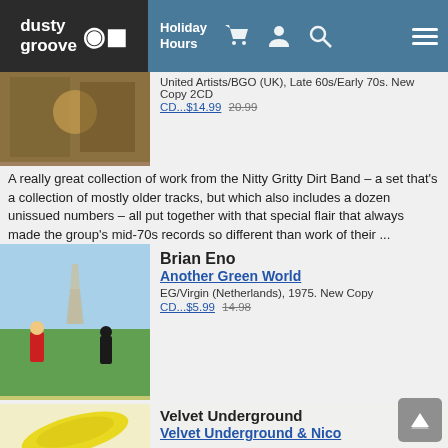dusty groove | Holiday Hours
United Artists/BGO (UK), Late 60s/Early 70s. New Copy 2CD
CD...$14.99  20.99
A really great collection of work from the Nitty Gritty Dirt Band – a set that's a collection of mostly older tracks, but which also includes a dozen unissued numbers – all put together with that special flair that always made the group's mid-70s records so different than work of their ...
Brian Eno
Another Green World
EG/Virgin (Netherlands), 1975. New Copy
CD...$5.99  14.98
Brian Eno at the crux of his career – hanging perfectly between the guitar-heavy glam of earlier years, and the spacey electronics of later material – both of which he presents wonderfully on the record! The album is one of his last to feature real rock songs, with the kind of vocals ...
Velvet Underground
Velvet Underground & Nico
MGM/Polydor, Late 60s. New Copy
CD...$6.99  14.99
Delicate dissonance, bruised beauty, and hazy noise pop – all in one of the best rock albums ever made – the amazing first album from the Velvet Underground and Nico! The album's the stuff of legend – and for good reason, too – a surprising slab of vinyl that barely got the